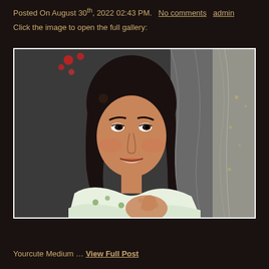Posted On August 30th, 2022 02:43 PM.  No comments  admin
Click the image to open the full gallery:
[Figure (photo): A woman with dark hair wearing a floral light-colored top, gesturing with her hand, in front of draped fabric/curtains background. Red decorative elements visible in upper left.]
Yourcute Medium … View Full Post